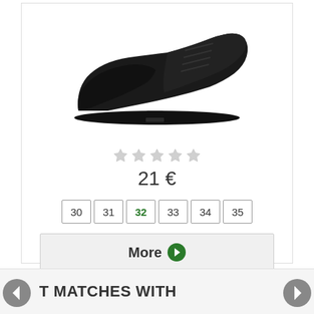[Figure (photo): Black leather lace-up oxford/derby shoe on a white background, side profile view]
★★★★★ (5 empty stars rating)
21 €
30  31  32  33  34  35 (size selector, 32 selected in green)
More ›
T MATCHES WITH